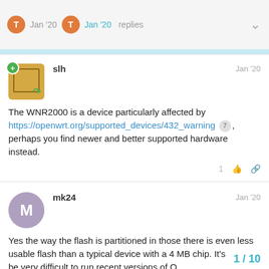Jan '20  Jan '20  replies
slh  Jan '20
The WNR2000 is a device particularly affected by https://openwrt.org/supported_devices/432_warning 7 , perhaps you find newer and better supported hardware instead.
mk24  Jan '20
Yes the way the flash is partitioned in those there is even less usable flash than a typical device with a 4 MB chip. It's going to be very difficult to run recent versions of O
1 / 10